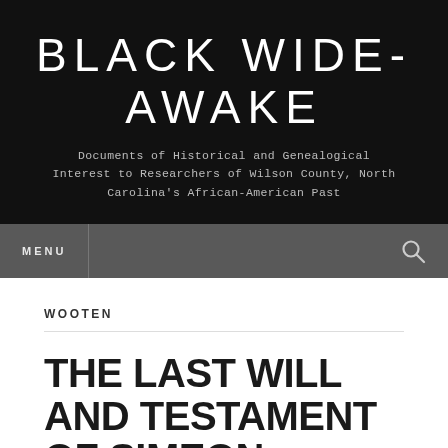BLACK WIDE-AWAKE
Documents of Historical and Genealogical Interest to Researchers of Wilson County, North Carolina's African-American Past
MENU
WOOTEN
THE LAST WILL AND TESTAMENT OF SIMEON